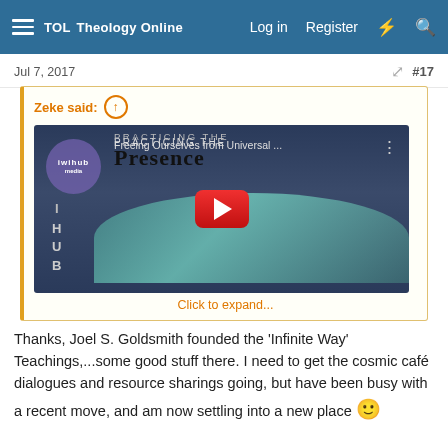TOL Theology Online  Log in  Register
Jul 7, 2017  #17
Zeke said:
[Figure (screenshot): YouTube video thumbnail titled 'Practicing the Presence - Freeing Ourselves from Universal...' with iwihub badge and red play button]
Click to expand...
Thanks, Joel S. Goldsmith founded the 'Infinite Way' Teachings,...some good stuff there. I need to get the cosmic café dialogues and resource sharings going, but have been busy with a recent move, and am now settling into a new place 🙂